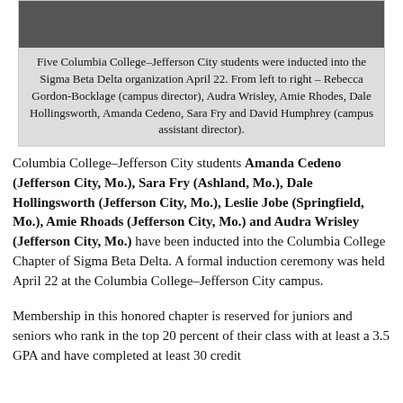[Figure (photo): Group photo of five Columbia College–Jefferson City students inducted into Sigma Beta Delta, shown from left to right: Rebecca Gordon-Bocklage, Audra Wrisley, Amie Rhodes, Dale Hollingsworth, Amanda Cedeno, Sara Fry, and David Humphrey.]
Five Columbia College–Jefferson City students were inducted into the Sigma Beta Delta organization April 22. From left to right – Rebecca Gordon-Bocklage (campus director), Audra Wrisley, Amie Rhodes, Dale Hollingsworth, Amanda Cedeno, Sara Fry and David Humphrey (campus assistant director).
Columbia College–Jefferson City students Amanda Cedeno (Jefferson City, Mo.), Sara Fry (Ashland, Mo.), Dale Hollingsworth (Jefferson City, Mo.), Leslie Jobe (Springfield, Mo.), Amie Rhoads (Jefferson City, Mo.) and Audra Wrisley (Jefferson City, Mo.) have been inducted into the Columbia College Chapter of Sigma Beta Delta. A formal induction ceremony was held April 22 at the Columbia College–Jefferson City campus.
Membership in this honored chapter is reserved for juniors and seniors who rank in the top 20 percent of their class with at least a 3.5 GPA and have completed at least 30 credit